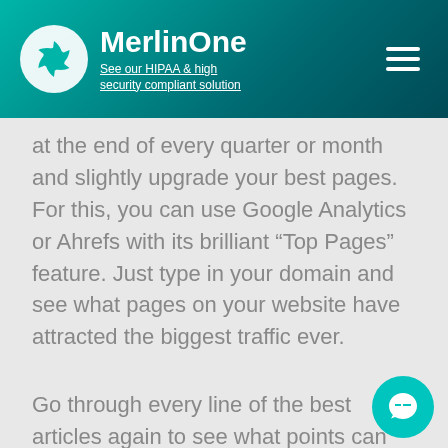MerlinOne — See our HIPAA & high security compliant solution
at the end of every quarter or month and slightly upgrade your best pages. For this, you can use Google Analytics or Ahrefs with its brilliant “Top Pages” feature. Just type in your domain and see what pages on your website have attracted the biggest traffic ever.
Go through every line of the best articles again to see what points can be improved